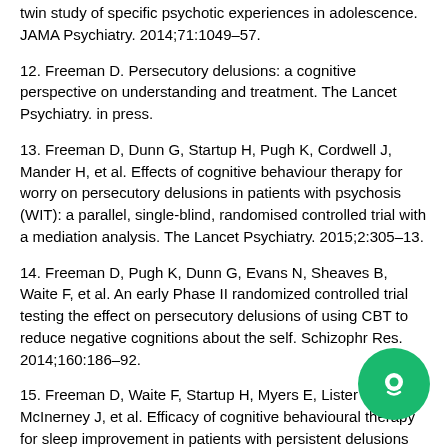twin study of specific psychotic experiences in adolescence. JAMA Psychiatry. 2014;71:1049–57.
12. Freeman D. Persecutory delusions: a cognitive perspective on understanding and treatment. The Lancet Psychiatry. in press.
13. Freeman D, Dunn G, Startup H, Pugh K, Cordwell J, Mander H, et al. Effects of cognitive behaviour therapy for worry on persecutory delusions in patients with psychosis (WIT): a parallel, single-blind, randomised controlled trial with a mediation analysis. The Lancet Psychiatry. 2015;2:305–13.
14. Freeman D, Pugh K, Dunn G, Evans N, Sheaves B, Waite F, et al. An early Phase II randomized controlled trial testing the effect on persecutory delusions of using CBT to reduce negative cognitions about the self. Schizophr Res. 2014;160:186–92.
15. Freeman D, Waite F, Startup H, Myers E, Lister E, McInerney J, et al. Efficacy of cognitive behavioural therapy for sleep improvement in patients with persistent delusions and hallucinations (BEST): a prospective, assessor-blind, randomised controlled pilot study. The Lancet Psychiatry. 2015;2:975–8.
16. Freeman D, Sheaves B, Goodwin G, Yu L-M, Harrison D…